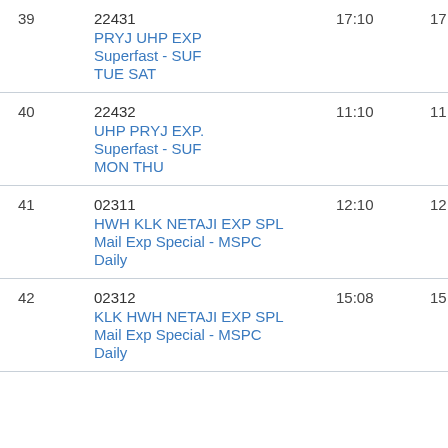| # | Train | Arrival | Departure |
| --- | --- | --- | --- |
| 39 | 22431
PRYJ UHP EXP
Superfast - SUF
TUE SAT | 17:10 | 17:12 |
| 40 | 22432
UHP PRYJ EXP.
Superfast - SUF
MON THU | 11:10 | 11:12 |
| 41 | 02311
HWH KLK NETAJI EXP SPL
Mail Exp Special - MSPC
Daily | 12:10 | 12:12 |
| 42 | 02312
KLK HWH NETAJI EXP SPL
Mail Exp Special - MSPC
Daily | 15:08 | 15:10 |